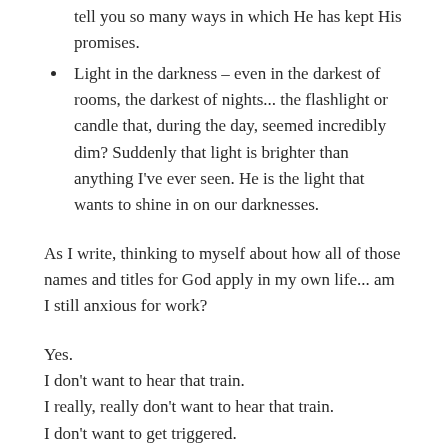tell you so many ways in which He has kept His promises.
Light in the darkness – even in the darkest of rooms, the darkest of nights... the flashlight or candle that, during the day, seemed incredibly dim? Suddenly that light is brighter than anything I've ever seen. He is the light that wants to shine in on our darknesses.
As I write, thinking to myself about how all of those names and titles for God apply in my own life... am I still anxious for work?
Yes.
I don't want to hear that train.
I really, really don't want to hear that train.
I don't want to get triggered.
I want to just... get over this.